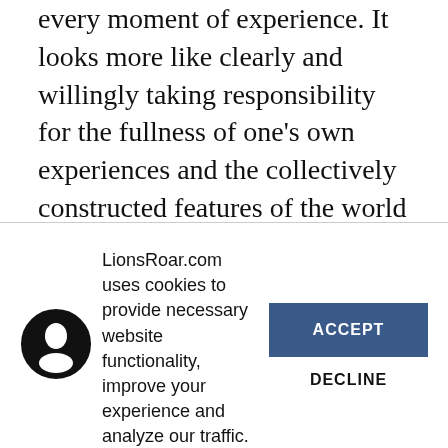every moment of experience. It looks more like clearly and willingly taking responsibility for the fullness of one's own experiences and the collectively constructed features of the world than a discrete experience of nondual awareness, which the Yogacara school also names as possible and important on the bodhisattva's path.
LionsRoar.com uses cookies to provide necessary website functionality, improve your experience and analyze our traffic. By using our website, you agree to our Privacy Policy and our cookies usage.
ACCEPT
DECLINE